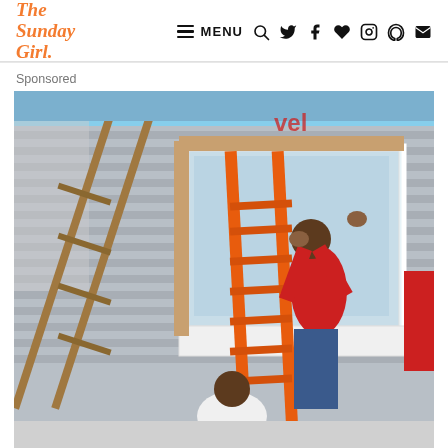The Sunday Girl. — MENU navigation bar with icons
Sponsored
[Figure (photo): Workers installing a window on the exterior of a house. A person in a red shirt stands on an orange ladder reaching up to fit a large white-framed window into the grey vinyl-sided wall. Another person crouches at the base below the ladder. Additional workers are visible on the right side of the window. A wooden ladder leans against the house on the left.]